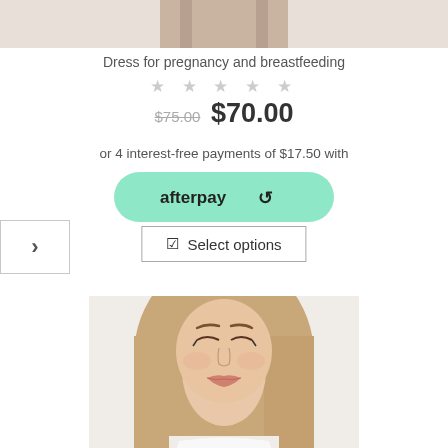[Figure (photo): Cropped product photo showing lower body of a person wearing a dress for pregnancy and breastfeeding]
Dress for pregnancy and breastfeeding
★★★★★ (star rating, greyed out)
$75.00  $70.00
or 4 interest-free payments of $17.50 with
[Figure (logo): Afterpay logo button - green rounded pill button with 'afterpay' text and arrow icon]
[Figure (other): Navigation right arrow button on left side]
Select options
[Figure (photo): Close-up photo of a woman with long blonde hair, wearing natural makeup, looking downward]